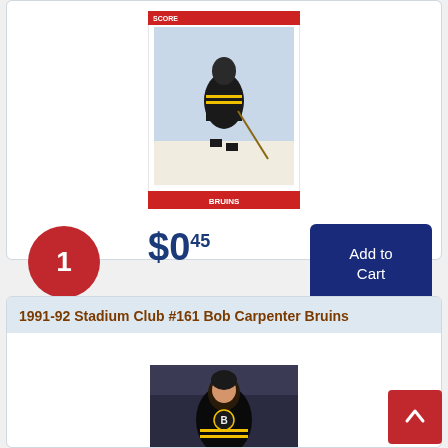[Figure (photo): Hockey trading card showing a Bruins player skating with a hockey stick, Score brand card with red border]
1
Available
$0.45
Add to Cart
1991-92 Stadium Club #161 Bob Carpenter Bruins
[Figure (photo): Hockey trading card showing Bob Carpenter of the Boston Bruins in a black jersey, Stadium Club card]